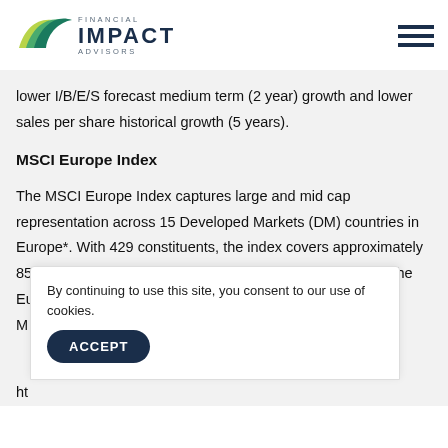Financial Impact Advisors
lower I/B/E/S forecast medium term (2 year) growth and lower sales per share historical growth (5 years).
MSCI Europe Index
The MSCI Europe Index captures large and mid cap representation across 15 Developed Markets (DM) countries in Europe*. With 429 constituents, the index covers approximately 85% of the free float-adjusted market capitalization across the European Developed M
By continuing to use this site, you consent to our use of cookies.
ht
ACCEPT